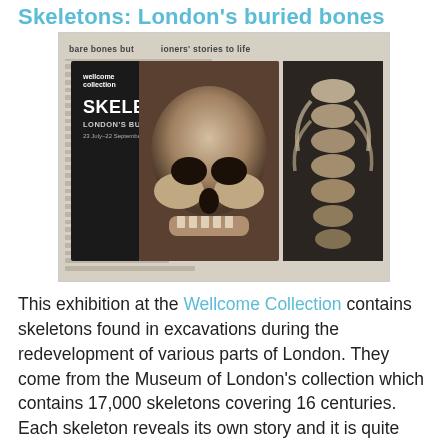Skeletons: London's buried bones
[Figure (photo): Photo of a Wellcome Collection exhibition brochure titled 'Skeletons: London's Buried Bones' with a skull on the cover, placed on a newspaper, alongside an image of a spine/ribcage]
This exhibition at the Wellcome Collection contains skeletons found in excavations during the redevelopment of various parts of London. They come from the Museum of London's collection which contains 17,000 skeletons covering 16 centuries. Each skeleton reveals its own story and it is quite